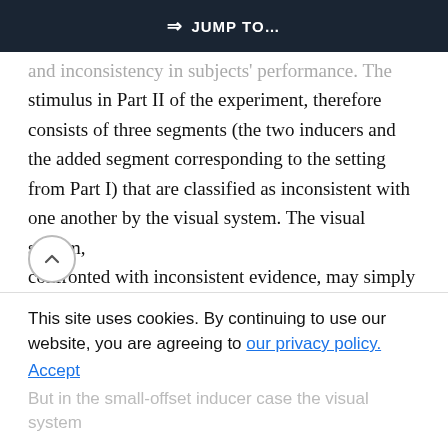⇒ JUMP TO…
and inconsistency in subjects' performance. The stimulus in Part II of the experiment, therefore consists of three segments (the two inducers and the added segment corresponding to the setting from Part I) that are classified as inconsistent with one another by the visual system. The visual system, confronted with inconsistent evidence, may simply discard one of the inducers and interpolate the added segment and the remaining inducer. There is no reason why precision should not be as high as in the relatable case: the added segment is typically
relatable to the remaining inducer and the gap over
This site uses cookies. By continuing to use our website, you are agreeing to our privacy policy. Accept
But in the small-offset inducer case the visual system